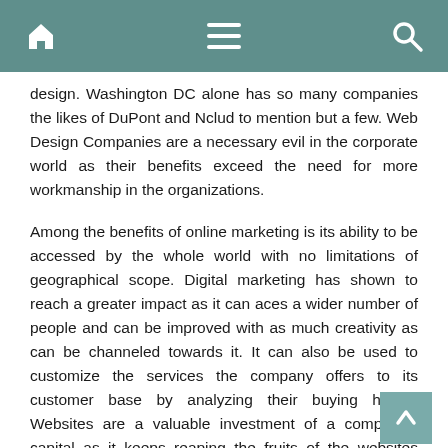Navigation bar with home, menu, and search icons
design. Washington DC alone has so many companies the likes of DuPont and Nclud to mention but a few. Web Design Companies are a necessary evil in the corporate world as their benefits exceed the need for more workmanship in the organizations.
Among the benefits of online marketing is its ability to be accessed by the whole world with no limitations of geographical scope. Digital marketing has shown to reach a greater impact as it can aces a wider number of people and can be improved with as much creativity as can be channeled towards it. It can also be used to customize the services the company offers to its customer base by analyzing their buying habits. Websites are a valuable investment of a company's capital as it keeps reaping the fruits of the websites despite creating it only once. It has never been easier than it is now to get to win customers by willing to invest in what they like and interacting with them by means on websites and other social media